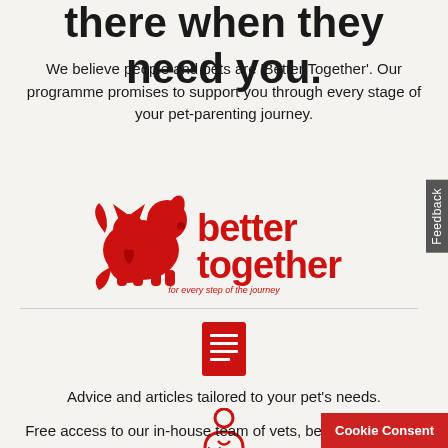there when they need you.
We believe people and pets are 'Better Together'. Our programme promises to support you through every stage of your pet-parenting journey.
[Figure (logo): Better Together logo — red dog and cat silhouette with bold red text 'better together' and tagline 'for every step of the journey']
[Figure (illustration): Red document/article icon]
Advice and articles tailored to your pet's needs.
[Figure (illustration): Red person/advisor icon with heart]
Free access to our in-house team of vets, behaviourists and advisors.